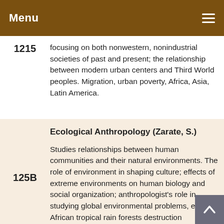Menu
1215 — focusing on both nonwestern, nonindustrial societies of past and present; the relationship between modern urban centers and Third World peoples. Migration, urban poverty, Africa, Asia, Latin America.
Ecological Anthropology (Zarate, S.)
125B — Studies relationships between human communities and their natural environments. The role of environment in shaping culture; effects of extreme environments on human biology and social organization; anthropologist's role in studying global environmental problems, e.g., African tropical rain forests destruction